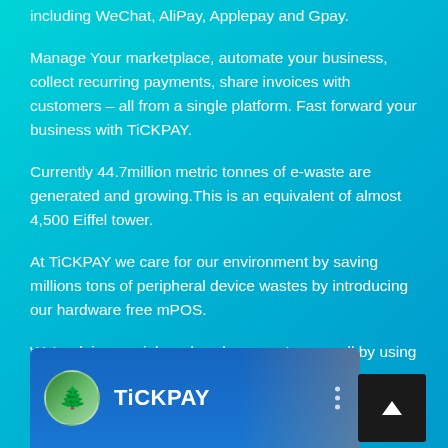including WeChat, AliPay, Applepay and Gpay.
Manage Your marketplace, automate your business, collect recurring payments, share invoices with customers – all from a single platform. Fast forward your business with TiCKPAY.
Currently 44.7million metric tonnes of e-waste are generated and growing.This is an equivalent of almost 4,500 Eiffel tower.
At TiCKPAY we care for our environment by saving millions tons of peripheral device wastes by introducing our hardware free mPOS.
We're doing our job and we hope you're as well by using our technology.
[Figure (screenshot): TiCKPAY app screenshot showing brand logo with green tree avatar icon and brand name TiCKPAY on a dark blue background with a three-dot menu icon on the right]